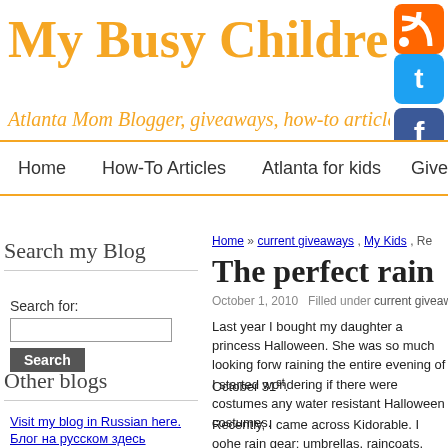My Busy Children
Atlanta Mom Blogger, giveaways, how-to articles, health
Home   How-To Articles   Atlanta for kids   Give
Search my Blog
Search for:
Other blogs
Visit my blog in Russian here.
Блог на русском здесь
Home » current giveaways, My Kids, Re
The perfect rain
October 1, 2010   Filled under current giveaways, M
Last year I bought my daughter a princess Halloween. She was so much looking forw raining the entire evening of October 31st.
I started wondering if there were costumes any water resistant Halloween costumes.
Recently, I came across Kidorable. I oohe rain gear: umbrellas, raincoats, rain boots,